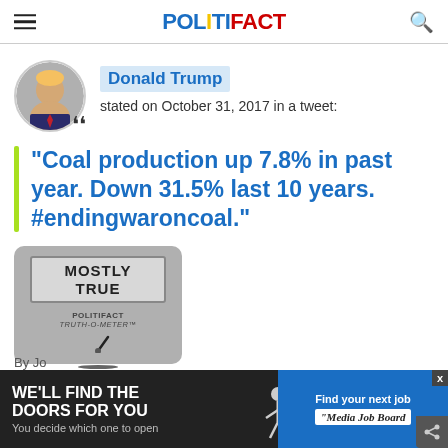POLITIFACT
Donald Trump stated on October 31, 2017 in a tweet:
"Coal production up 7.8% in past year. Down 31.5% last 10 years. #endingwaroncoal."
[Figure (other): PolitiFact Truth-O-Meter showing MOSTLY TRUE rating with green bulb]
By Jo...
[Figure (infographic): Advertisement banner: WE'LL FIND THE DOORS FOR YOU - You decide which one to open. Find your next job - Media Job Board]